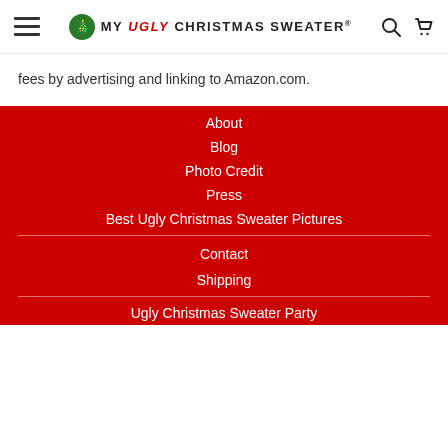MY UGLY CHRISTMAS SWEATER
fees by advertising and linking to Amazon.com.
About
Blog
Photo Credit
Press
Best Ugly Christmas Sweater Pictures
Contact
Shipping
Ugly Christmas Sweater Party